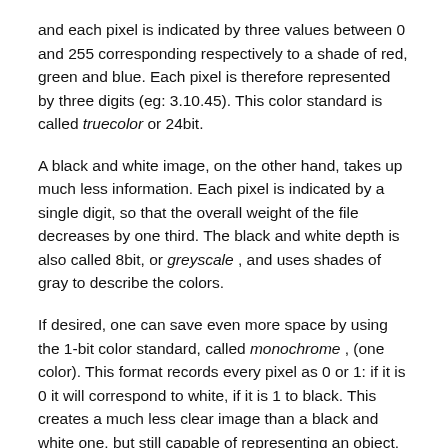and each pixel is indicated by three values between 0 and 255 corresponding respectively to a shade of red, green and blue. Each pixel is therefore represented by three digits (eg: 3.10.45). This color standard is called truecolor or 24bit.
A black and white image, on the other hand, takes up much less information. Each pixel is indicated by a single digit, so that the overall weight of the file decreases by one third. The black and white depth is also called 8bit, or greyscale , and uses shades of gray to describe the colors.
If desired, one can save even more space by using the 1-bit color standard, called monochrome , (one color). This format records every pixel as 0 or 1: if it is 0 it will correspond to white, if it is 1 to black. This creates a much less clear image than a black and white one, but still capable of representing an object.
I already know that the number I'm going to calculate will be very large, so I have to be a bit stingy and choose the 1bit